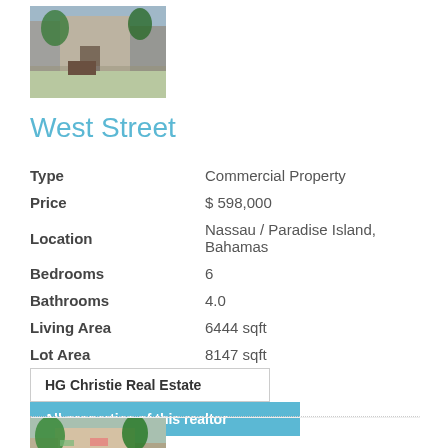[Figure (photo): Street view of a building with trees and a gate]
West Street
| Type | Commercial Property |
| Price | $ 598,000 |
| Location | Nassau / Paradise Island, Bahamas |
| Bedrooms | 6 |
| Bathrooms | 4.0 |
| Living Area | 6444 sqft |
| Lot Area | 8147 sqft |
HG Christie Real Estate
All properties of this realtor
[Figure (photo): Street view of a colorful building with trees]